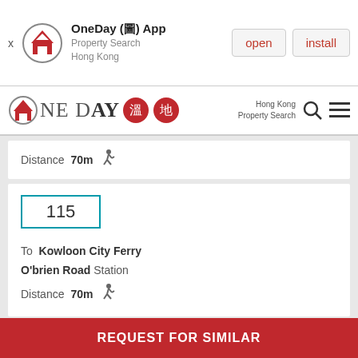[Figure (screenshot): OneDay App banner with open and install buttons]
[Figure (logo): OneDay Hong Kong Property Search logo with navigation bar]
Distance 70m (walking icon)
115
To Kowloon City Ferry
O'brien Road Station
Distance 70m (walking icon)
601
REQUEST FOR SIMILAR